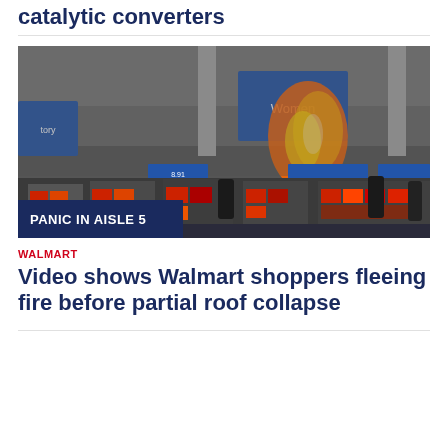catalytic converters
[Figure (photo): Interior of a Walmart store with fire visible near the ceiling and shoppers in the aisles. A blue sign reading 'Women' is visible. An overlay label reads 'PANIC IN AISLE 5'.]
WALMART
Video shows Walmart shoppers fleeing fire before partial roof collapse